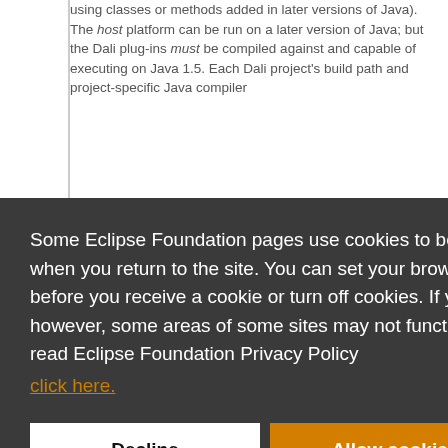using classes or methods added in later versions of Java). The host platform can be run on a later version of Java; but the Dali plug-ins must be compiled against and capable of executing on Java 1.5. Each Dali project's build path and project-specific Java compiler
Some Eclipse Foundation pages use cookies to better serve you when you return to the site. You can set your browser to notify you before you receive a cookie or turn off cookies. If you do so, however, some areas of some sites may not function properly. To read Eclipse Foundation Privacy Policy click here.
Decline
Allow cookies
Download the latest WTP Integration Build and all of its dependencies.